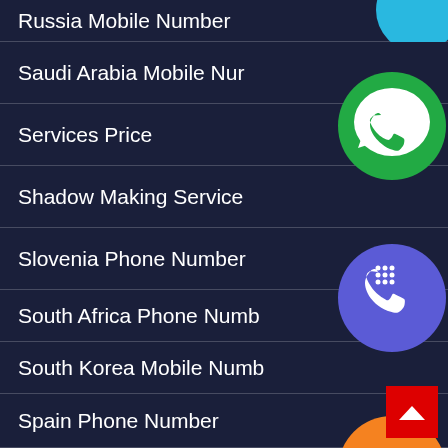Russia Mobile Number
Saudi Arabia Mobile Number
Services Price
Shadow Making Service
Slovenia Phone Number
South Africa Phone Number
South Korea Mobile Number
Spain Phone Number
Sri Lanka Phone Number
Sweden Phone Number
[Figure (screenshot): Floating social media / contact icons (WhatsApp green, phone blue-purple, email orange, LINE green, Viber purple, close green X) overlaid on the right side of the list, plus a red back-to-top button.]